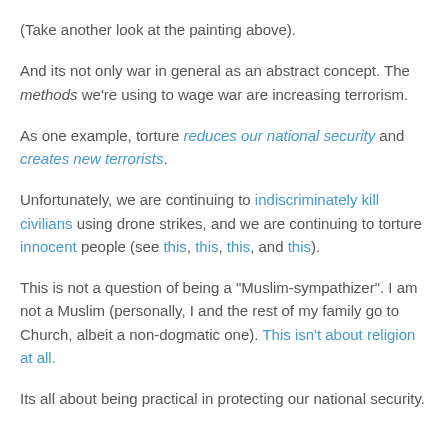(Take another look at the painting above).
And its not only war in general as an abstract concept. The methods we're using to wage war are increasing terrorism.
As one example, torture reduces our national security and creates new terrorists.
Unfortunately, we are continuing to indiscriminately kill civilians using drone strikes, and we are continuing to torture innocent people (see this, this, this, and this).
This is not a question of being a "Muslim-sympathizer". I am not a Muslim (personally, I and the rest of my family go to Church, albeit a non-dogmatic one). This isn't about religion at all.
Its all about being practical in protecting our national security.